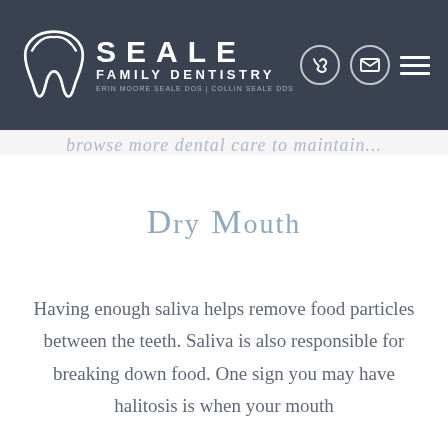[Figure (logo): Seale Family Dentistry logo with tooth icon, phone icon, email icon, and menu icon on dark background header]
browse more dental care to maintain...
Dry Mouth
Having enough saliva helps remove food particles between the teeth. Saliva is also responsible for breaking down food. One sign you may have halitosis is when your mouth